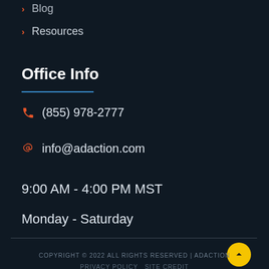Blog
Resources
Office Info
(855) 978-2777
info@adaction.com
9:00 AM - 4:00 PM MST
Monday - Saturday
COPYRIGHT © 2022 ALL RIGHTS RESERVED | ADACTION
PRIVACY POLICY   SITE CREDIT